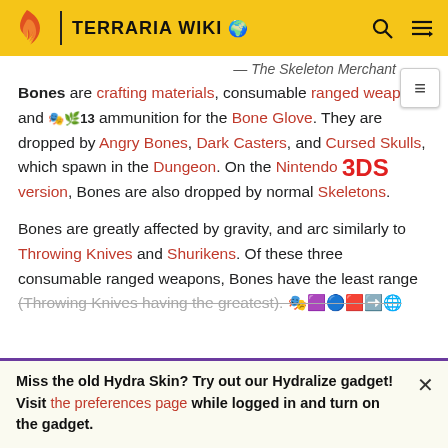TERRARIA WIKI
— The Skeleton Merchant
Bones are crafting materials, consumable ranged weapons, and 🎭🌟13 ammunition for the Bone Glove. They are dropped by Angry Bones, Dark Casters, and Cursed Skulls, which spawn in the Dungeon. On the Nintendo 3DS version, Bones are also dropped by normal Skeletons.
Bones are greatly affected by gravity, and arc similarly to Throwing Knives and Shurikens. Of these three consumable ranged weapons, Bones have the least range (Throwing Knives having the greatest).
Miss the old Hydra Skin? Try out our Hydralize gadget! Visit the preferences page while logged in and turn on the gadget.